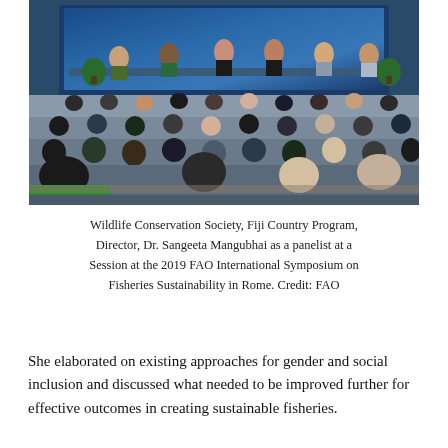[Figure (photo): Conference panel session with speakers on stage and audience seated in rows, at the 2019 FAO International Symposium on Fisheries Sustainability in Rome.]
Wildlife Conservation Society, Fiji Country Program, Director, Dr. Sangeeta Mangubhai as a panelist at a Session at the 2019 FAO International Symposium on Fisheries Sustainability in Rome. Credit: FAO
She elaborated on existing approaches for gender and social inclusion and discussed what needed to be improved further for effective outcomes in creating sustainable fisheries.